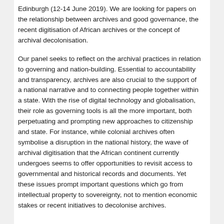Edinburgh (12-14 June 2019). We are looking for papers on the relationship between archives and good governance, the recent digitisation of African archives or the concept of archival decolonisation.
Our panel seeks to reflect on the archival practices in relation to governing and nation-building. Essential to accountability and transparency, archives are also crucial to the support of a national narrative and to connecting people together within a state. With the rise of digital technology and globalisation, their role as governing tools is all the more important, both perpetuating and prompting new approaches to citizenship and state. For instance, while colonial archives often symbolise a disruption in the national history, the wave of archival digitisation that the African continent currently undergoes seems to offer opportunities to revisit access to governmental and historical records and documents. Yet these issues prompt important questions which go from intellectual property to sovereignty, not to mention economic stakes or recent initiatives to decolonise archives.